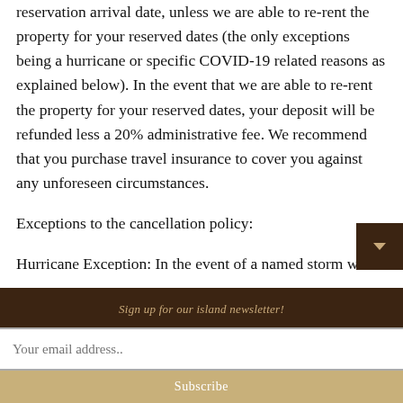reservation arrival date, unless we are able to re-rent the property for your reserved dates (the only exceptions being a hurricane or specific COVID-19 related reasons as explained below). In the event that we are able to re-rent the property for your reserved dates, your deposit will be refunded less a 20% administrative fee. We recommend that you purchase travel insurance to cover you against any unforeseen circumstances.
Exceptions to the cancellation policy:
Hurricane Exception: In the event of a named storm which is forecasted to pass less than
Sign up for our island newsletter!
Your email address..
Subscribe